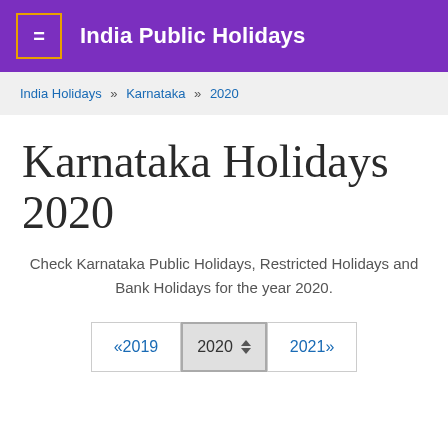India Public Holidays
India Holidays » Karnataka » 2020
Karnataka Holidays 2020
Check Karnataka Public Holidays, Restricted Holidays and Bank Holidays for the year 2020.
«2019  2020 ⬍  2021»